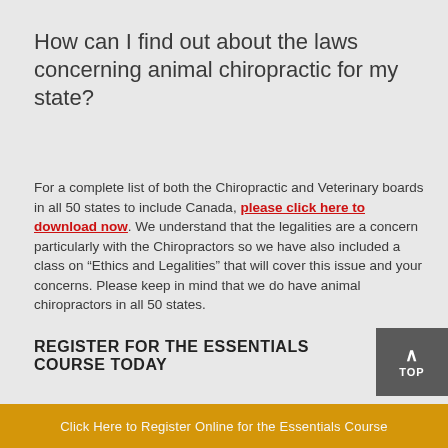How can I find out about the laws concerning animal chiropractic for my state?
For a complete list of both the Chiropractic and Veterinary boards in all 50 states to include Canada, please click here to download now. We understand that the legalities are a concern particularly with the Chiropractors so we have also included a class on “Ethics and Legalities” that will cover this issue and your concerns. Please keep in mind that we do have animal chiropractors in all 50 states.
REGISTER FOR THE ESSENTIALS COURSE TODAY
Click Here to Register Online for the Essentials Course